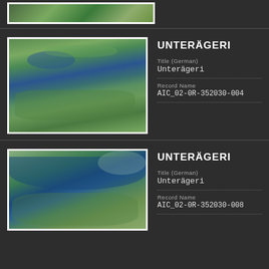[Figure (photo): Aerial photo of Unterägeri (partial, top of page)]
UNTERÄGERI
Title (German)
Unterägeri
Record Name
AIC_02-0R-352030-004
[Figure (photo): Aerial photo of Unterägeri showing lake and town]
UNTERÄGERI
Title (German)
Unterägeri
Record Name
AIC_02-0R-352030-008